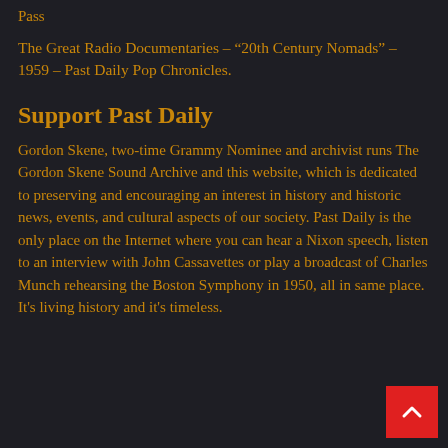Pass
The Great Radio Documentaries – “20th Century Nomads” – 1959 – Past Daily Pop Chronicles.
Support Past Daily
Gordon Skene, two-time Grammy Nominee and archivist runs The Gordon Skene Sound Archive and this website, which is dedicated to preserving and encouraging an interest in history and historic news, events, and cultural aspects of our society. Past Daily is the only place on the Internet where you can hear a Nixon speech, listen to an interview with John Cassavettes or play a broadcast of Charles Munch rehearsing the Boston Symphony in 1950, all in same place. It’s living history and it’s timeless.